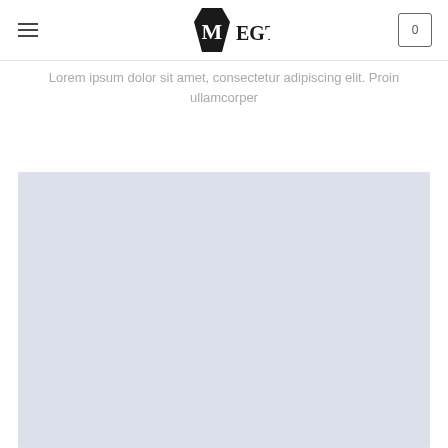MEGTECH
Lorem ipsum dolor sit amet, consectetur adipiscing elit. Proin ullamcorper
[Figure (other): Light blue-grey rectangular image placeholder area]